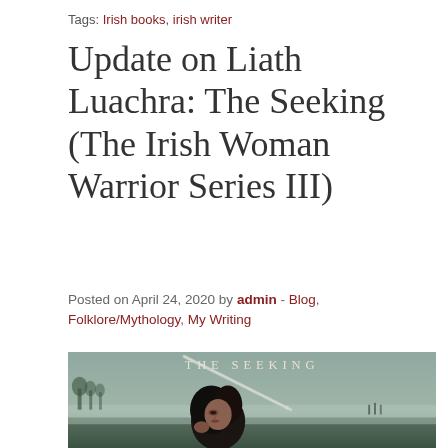Tags: Irish books, irish writer
Update on Liath Luachra: The Seeking (The Irish Woman Warrior Series III)
Posted on April 24, 2020 by admin - Blog, Folklore/Mythology, My Writing
[Figure (illustration): Book cover for 'The Seeking' showing a dark-haired female warrior holding a sword, with a misty landscape in the background. The title 'THE SEEKING' appears at the top in spaced serif letters.]